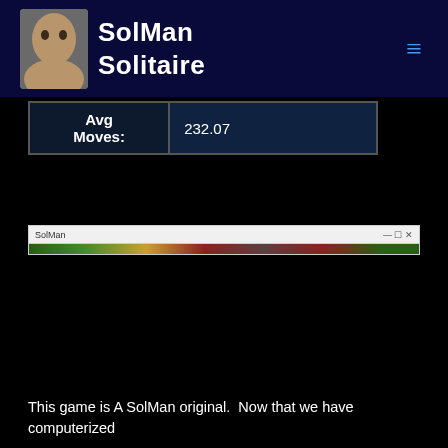SolMan Solitaire
| Avg Moves: | 232.07 |
[Figure (screenshot): Screenshot of SolMan application window showing a solitaire game with a green felt background and card game interface]
This game is A SolMan original.  Now that we have computerized